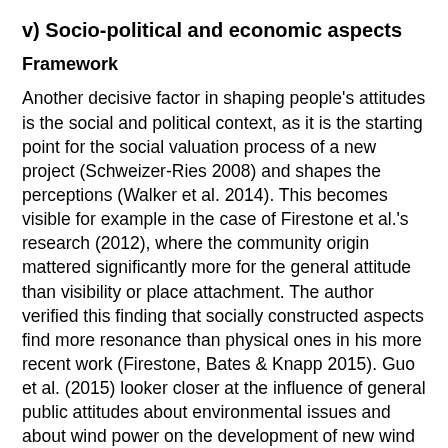v) Socio-political and economic aspects
Framework
Another decisive factor in shaping people's attitudes is the social and political context, as it is the starting point for the social valuation process of a new project (Schweizer-Ries 2008) and shapes the perceptions (Walker et al. 2014). This becomes visible for example in the case of Firestone et al.'s research (2012), where the community origin mattered significantly more for the general attitude than visibility or place attachment. The author verified this finding that socially constructed aspects find more resonance than physical ones in his more recent work (Firestone, Bates & Knapp 2015). Guo et al. (2015) looker closer at the influence of general public attitudes about environmental issues and about wind power on the development of new wind energy projects. While he [Fix Me!] should be they since it is et al. found the latter not to have explanatory power, he detected that the general view on the environment has influence on local,